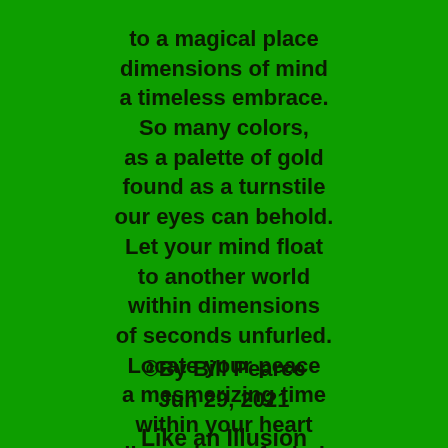to a magical place
dimensions of mind
a timeless embrace.
So many colors,
as a palette of gold
found as a turnstile
our eyes can behold.
Let your mind float
to another world
within dimensions
of seconds unfurled.
Locate your peace
a mesmerizing time
within your heart
dimensions of mind.
©By Bill Pearce
Jun 29,  2021
Like an Illusion
The stage is set